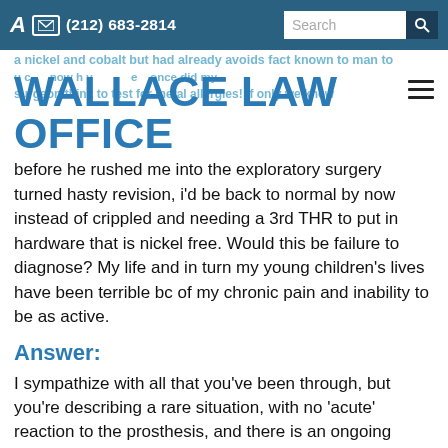A (212) 683-2814 Search
WALLACE LAW OFFICE
before he rushed me into the exploratory surgery turned hasty revision, i'd be back to normal by now instead of crippled and needing a 3rd THR to put in hardware that is nickel free. Would this be failure to diagnose? My life and in turn my young children's lives have been terrible bc of my chronic pain and inability to be as active.
Answer:
I sympathize with all that you've been through, but you're describing a rare situation, with no 'acute' reaction to the prosthesis, and there is an ongoing debate about the need for pre-surgery allergy testing in non-symptomatic patients. You appear to have had a number of second opinions - and for a lawsuit, you'd have to establish your original surgeon